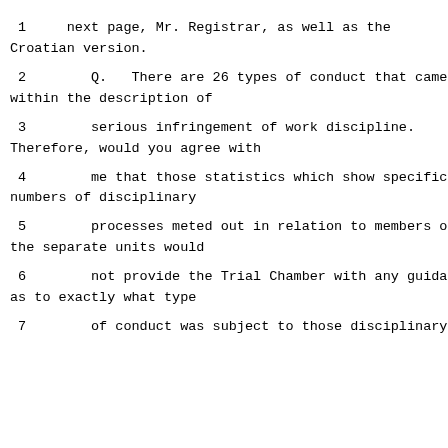1     next page, Mr. Registrar, as well as the Croatian version.
2        Q.   There are 26 types of conduct that came within the description of
3        serious infringement of work discipline. Therefore, would you agree with
4        me that those statistics which show specific numbers of disciplinary
5        processes meted out in relation to members of the separate units would
6        not provide the Trial Chamber with any guidance as to exactly what type
7        of conduct was subject to those disciplinary